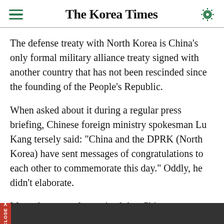The Korea Times
The defense treaty with North Korea is China's only formal military alliance treaty signed with another country that has not been rescinded since the founding of the People's Republic.
When asked about it during a regular press briefing, Chinese foreign ministry spokesman Lu Kang tersely said: "China and the DPRK (North Korea) have sent messages of congratulations to each other to commemorate this day." Oddly, he didn't elaborate.
Most observers also noticed that China was not sending any high-level delegation to North Korea this time. Five years ago, on the 50th anniversary, China